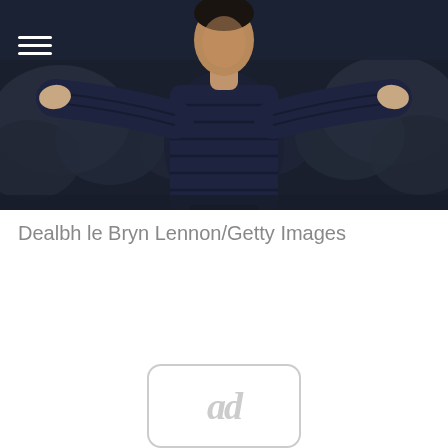[Figure (photo): A person wearing a dark navy puffer jacket with arms outstretched, photographed in front of a blurred crowd background at what appears to be a football/soccer stadium setting.]
Dealbh le Bryn Lennon/Getty Images
[Figure (other): Ad placeholder icon showing 'ad' text inside a rounded rectangle outline]